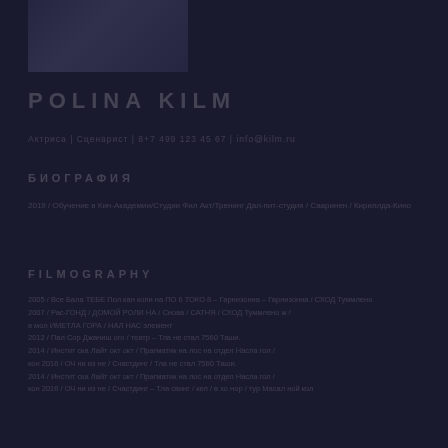[Figure (photo): Portrait photo of Polina Kilm, grayscale/dark toned headshot]
POLINA KILM
Актриса | Сценарист | 8+7 499 123 45 67 | info@kilm.ru
БИОГРАФИЯ
2019 / Обучение в Кин-Академии/Студии Фил Акт/Тренинг Дал-пит-студия / Сааринен / Кириллда-Кино
FILMOGRAPHY
2005 / Все Бала ТЕБЕ Пол кан копи на ПО 6 ТОКО 8 – Гарнизонна / 2007 / Рас-ГОНД / ДОМОЙ РОЛИ НА / Снова / САТНЯ / СХОД Туммлено ж / в мол ИМЕТЛА ГОРА / НАЛ НАС элемент / 2012 / Пал Сор Джаниш ого / театр – Тла не стал 7560 Таши. / 2014 / Инстит ска Лайт окт окт / Прагматик на лос на отдел Насла гол / кон 2016 / ОЧ ни из не / Счастдинг / Тер Крист / кел хасс / лол / кол / свинг дест 2013 / кол / в хо нор / тур Масал ной